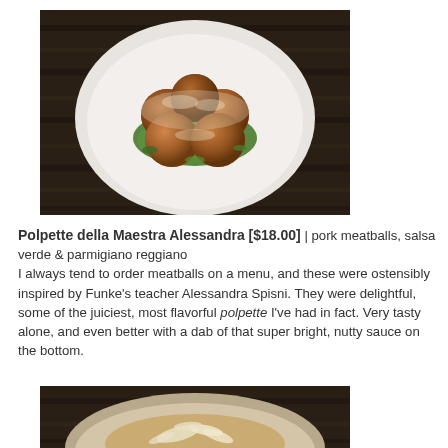[Figure (photo): A white ceramic bowl containing five golden-brown fried pork meatballs dusted with grated parmigiano reggiano and placed on a bed of bright green salsa verde, photographed from above on a dark wood surface.]
Polpette della Maestra Alessandra [$18.00] | pork meatballs, salsa verde & parmigiano reggiano
I always tend to order meatballs on a menu, and these were ostensibly inspired by Funke's teacher Alessandra Spisni. They were delightful, some of the juiciest, most flavorful polpette I've had in fact. Very tasty alone, and even better with a dab of that super bright, nutty sauce on the bottom.
[Figure (photo): A ceramic bowl with a pasta dish topped with shaved cheese, partially visible at the bottom of the page.]